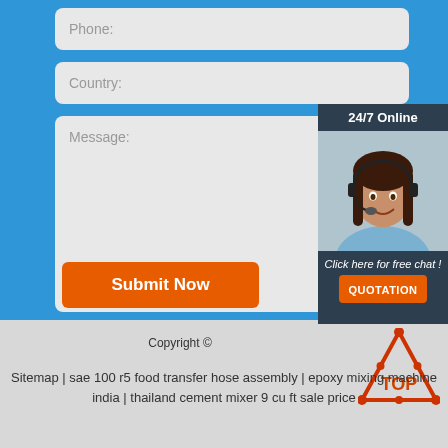Phone:
Country:
Message:
Submit Now
[Figure (photo): Customer service agent with headset, 24/7 Online chat widget with QUOTATION button]
Copyright ©
Sitemap | sae 100 r5 food transfer hose assembly | epoxy mixing machine india | thailand cement mixer 9 cu ft sale price